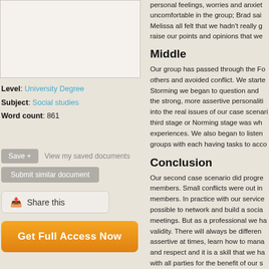[Figure (other): Document preview image box (blank/white preview area)]
Level: University Degree
Subject: Social studies
Word count: 861
Save + View my saved documents
Submit similar document
Share this
Get Full Access Now
personal feelings, worries and anxiet... uncomfortable in the group; Brad sai... Melissa all felt that we hadn't really g... raise our points and opinions that we...
Middle
Our group has passed through the Fo... others and avoided conflict. We starte... Storming we began to question and ... the strong, more assertive personaliti... into the real issues of our case scenari... third stage or Norming stage was wh... experiences. We also began to listen ... groups with each having tasks to acco...
Conclusion
Our second case scenario did progre... members. Small conflicts were out in... members. In practice with our service... possible to network and build a socia... meetings. But as a professional we ha... validity. There will always be differen... assertive at times, learn how to mana... and respect and it is a skill that we ha... with all parties for the benefit of our s...